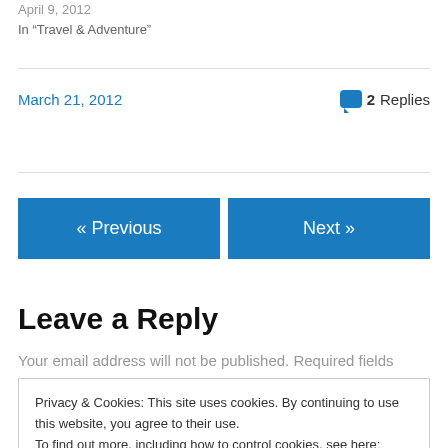April 9, 2012
In "Travel & Adventure"
March 21, 2012   2 Replies
« Previous
Next »
Leave a Reply
Your email address will not be published. Required fields
Privacy & Cookies: This site uses cookies. By continuing to use this website, you agree to their use.
To find out more, including how to control cookies, see here: Cookie Policy
Close and accept